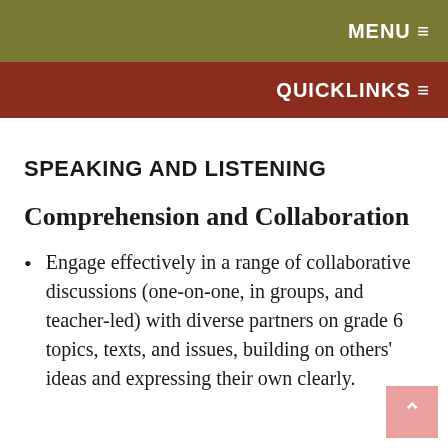MENU ☰
QUICKLINKS ☰
SPEAKING AND LISTENING
Comprehension and Collaboration
Engage effectively in a range of collaborative discussions (one-on-one, in groups, and teacher-led) with diverse partners on grade 6 topics, texts, and issues, building on others' ideas and expressing their own clearly.